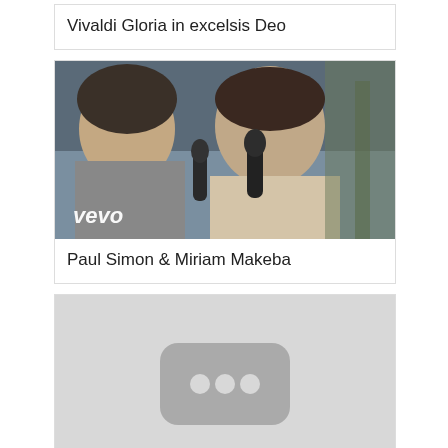Vivaldi Gloria in excelsis Deo
[Figure (photo): Vevo music video thumbnail showing two singers performing with microphones; a woman on the left and a man on the right, with the Vevo logo in the lower left corner.]
Paul Simon & Miriam Makeba
[Figure (other): Gray placeholder thumbnail with a rounded rectangle icon containing three dots in the center.]
It Don't Come Easy Ringo Sta